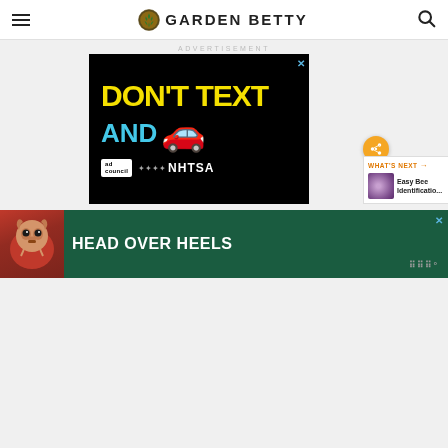GARDEN BETTY
ADVERTISEMENT
[Figure (infographic): Advertisement banner: 'DON'T TEXT AND [car emoji]' on black background with Ad Council and NHTSA logos. Close X button top right. Share button and 'WHAT'S NEXT: Easy Bee Identificatio...' panel on right side.]
[Figure (infographic): Bottom advertisement banner: Dog face image on left, 'HEAD OVER HEELS' text on dark green background. Close X button. WW logo bottom right.]